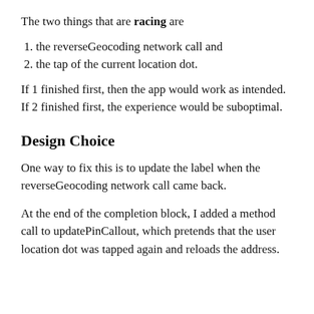The two things that are racing are
1. the reverseGeocoding network call and
2. the tap of the current location dot.
If 1 finished first, then the app would work as intended. If 2 finished first, the experience would be suboptimal.
Design Choice
One way to fix this is to update the label when the reverseGeocoding network call came back.
At the end of the completion block, I added a method call to updatePinCallout, which pretends that the user location dot was tapped again and reloads the address.